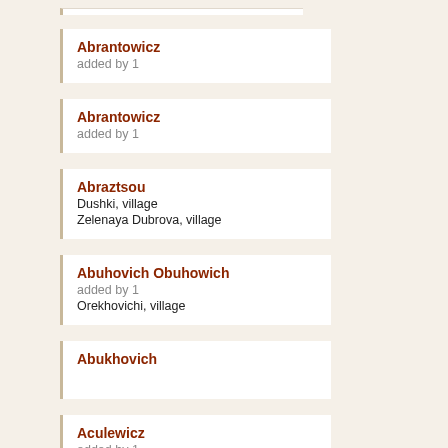Abrantowicz
added by 1
Abrantowicz
added by 1
Abraztsou
Dushki, village
Zelenaya Dubrova, village
Abuhovich Obuhowich
added by 1
Orekhovichi, village
Abukhovich
Aculewicz
added by 1
Volkovysk, town